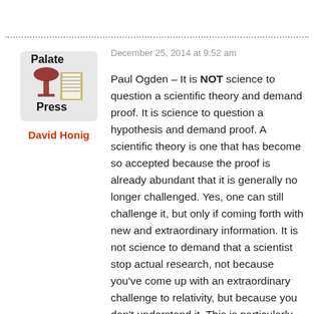[Figure (logo): Palate Press logo — wine glass and books graphic with 'Palate Press' text]
David Honig
December 25, 2014 at 9:52 am
Paul Ogden – It is NOT science to question a scientific theory and demand proof. It is science to question a hypothesis and demand proof. A scientific theory is one that has become so accepted because the proof is already abundant that it is generally no longer challenged. Yes, one can still challenge it, but only if coming forth with new and extraordinary information. It is not science to demand that a scientist stop actual research, not because you've come up with an extraordinary challenge to relativity, but because you don't understand it. This is particularly true if you've done